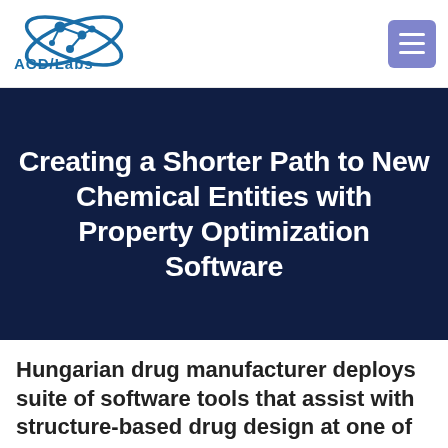[Figure (logo): ACD/Labs logo with molecule graphic and orbital ellipses in blue/teal]
Creating a Shorter Path to New Chemical Entities with Property Optimization Software
Hungarian drug manufacturer deploys suite of software tools that assist with structure-based drug design at one of